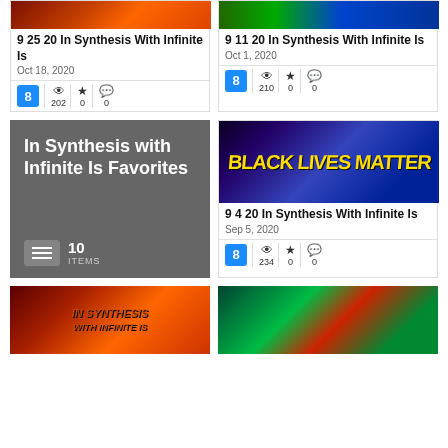[Figure (photo): Thumbnail image with orange/red sunburst pattern for '9 25 20 In Synthesis With Infinite Is']
9 25 20 In Synthesis With Infinite Is
Oct 18, 2020
202 views, 0 stars, 0 comments
[Figure (photo): Thumbnail with green/blue colorful grid for '9 11 20 In Synthesis With Infinite Is']
9 11 20 In Synthesis With Infinite Is
Oct 1, 2020
210 views, 0 stars, 0 comments
[Figure (other): Dark gray card with white text: 'In Synthesis with Infinite Is Favorites', 10 items list]
In Synthesis with Infinite Is Favorites
10 ITEMS
[Figure (photo): Black Lives Matter banner photo with colorful graffiti lettering]
9 4 20 In Synthesis With Infinite Is
Sep 5, 2020
234 views, 0 stars, 0 comments
[Figure (photo): Orange/red fire texture thumbnail for podcast episode]
[Figure (photo): Green/red swirl abstract art thumbnail]